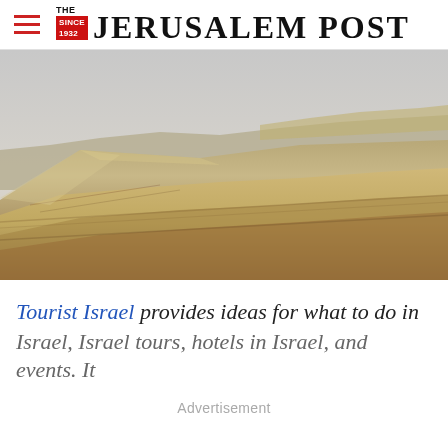THE JERUSALEM POST
[Figure (photo): Desert landscape with eroded sandy rock formations under a hazy grey sky, likely the Negev or Judean desert in Israel.]
Tourist Israel provides ideas for what to do in Israel, Israel tours, hotels in Israel, and events. It
Advertisement